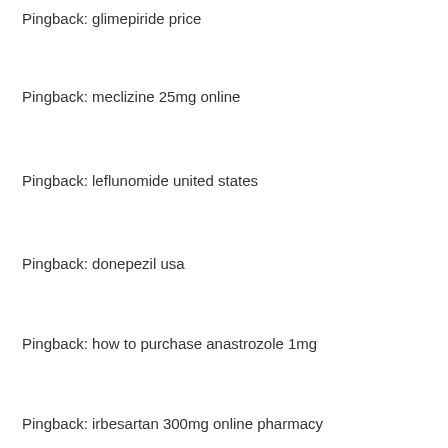Pingback: glimepiride price
Pingback: meclizine 25mg online
Pingback: leflunomide united states
Pingback: donepezil usa
Pingback: how to purchase anastrozole 1mg
Pingback: irbesartan 300mg online pharmacy